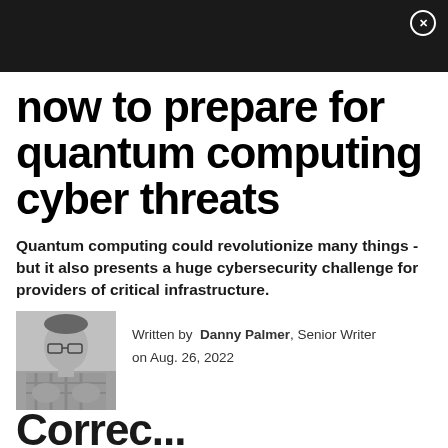now to prepare for quantum computing cyber threats
Quantum computing could revolutionize many things - but it also presents a huge cybersecurity challenge for providers of critical infrastructure.
[Figure (photo): Grayscale headshot of Danny Palmer, author, wearing glasses and a plaid shirt]
Written by Danny Palmer, Senior Writer
on Aug. 26, 2022